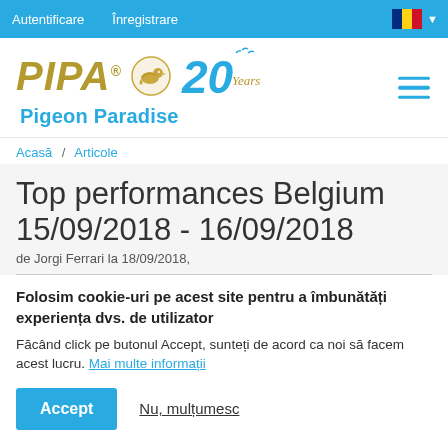Autentificare  Înregistrare
[Figure (logo): PIPA Pigeon Paradise logo with pigeon illustration and 20 Years anniversary badge]
Acasă / Articole
Top performances Belgium 15/09/2018 - 16/09/2018
de Jorgi Ferrari la 18/09/2018,
Folosim cookie-uri pe acest site pentru a îmbunătăți experiența dvs. de utilizator
Făcând click pe butonul Accept, sunteți de acord ca noi să facem acest lucru. Mai multe informații
Accept   Nu, mulțumesc